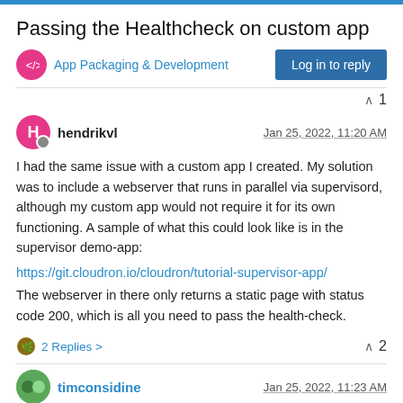Passing the Healthcheck on custom app
App Packaging & Development
Log in to reply
1
hendrikvl
Jan 25, 2022, 11:20 AM
I had the same issue with a custom app I created. My solution was to include a webserver that runs in parallel via supervisord, although my custom app would not require it for its own functioning. A sample of what this could look like is in the supervisor demo-app:
https://git.cloudron.io/cloudron/tutorial-supervisor-app/
The webserver in there only returns a static page with status code 200, which is all you need to pass the health-check.
2 Replies >
2
timconsidine
Jan 25, 2022, 11:23 AM